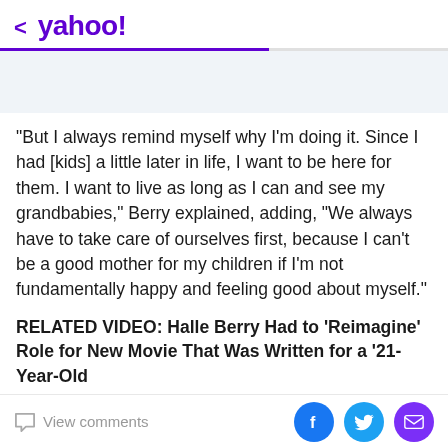< yahoo!
"But I always remind myself why I'm doing it. Since I had [kids] a little later in life, I want to be here for them. I want to live as long as I can and see my grandbabies," Berry explained, adding, "We always have to take care of ourselves first, because I can't be a good mother for my children if I'm not fundamentally happy and feeling good about myself."
RELATED VIDEO: Halle Berry Had to 'Reimagine' Role for New Movie That Was Written for a '21-Year-Old
View comments